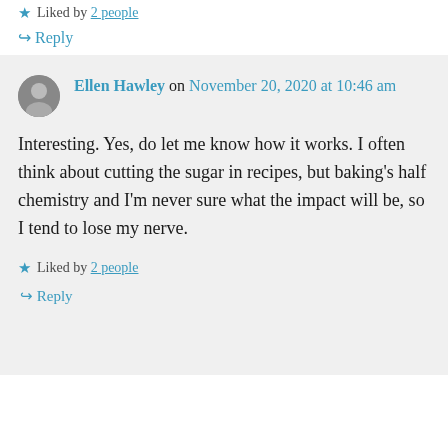★ Liked by 2 people
↪ Reply
Ellen Hawley on November 20, 2020 at 10:46 am
Interesting. Yes, do let me know how it works. I often think about cutting the sugar in recipes, but baking's half chemistry and I'm never sure what the impact will be, so I tend to lose my nerve.
★ Liked by 2 people
↪ Reply